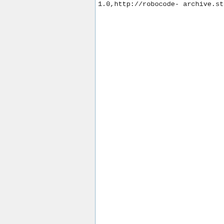1.0,http://robocode-archive.strangeautomata.com/rob satan.R0
0.2,http://robocode-archive.strangeautomata.com/rob satan.White
0.26,http://robocode-archive.strangeautomata.com/rob sch.Simone
0.3d,http://robocode-archive.strangeautomata.com/rob scheronimus.AntiRebel
1.1,http://dl.dropboxusercontent scheronimus.NanoScheroBot
1.0,http://dl.dropboxusercontent scheronimus.ScheroBot
2.3,http://dl.dropboxusercontent seed.Weed
3.0.2,https://drive.google.com/export=download&id=1WCScJ02pbG2 serenity.moonlightBat
1.17,http://robocode-archive.strangeautomata.com/rob serenity.nonSense
1.39,http://robocode-